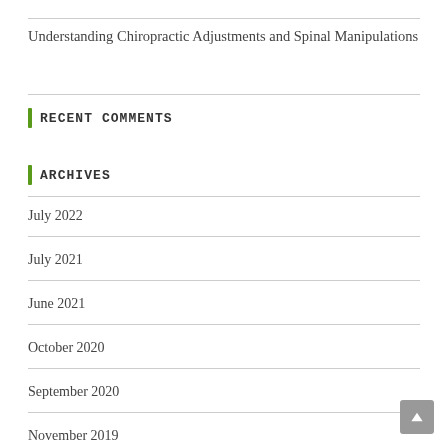Understanding Chiropractic Adjustments and Spinal Manipulations
Recent Comments
Archives
July 2022
July 2021
June 2021
October 2020
September 2020
May 2020
November 2019